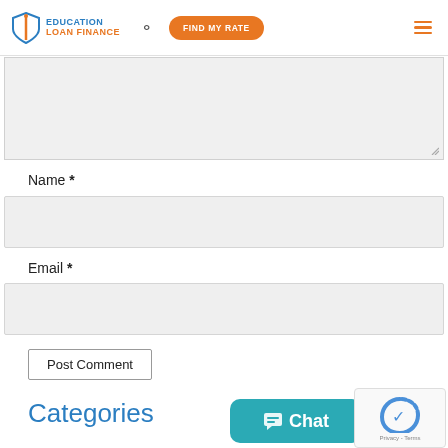Education Loan Finance — FIND MY RATE
Name *
Email *
Post Comment
Categories
Chat